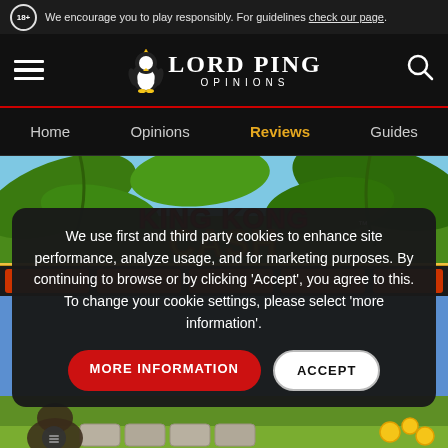18+ We encourage you to play responsibly. For guidelines check our page.
[Figure (logo): Lord Ping Opinions logo with penguin mascot, hamburger menu and search icon]
Home | Opinions | Reviews | Guides
[Figure (screenshot): King Kong Cash slot game banner with jungle background]
We use first and third party cookies to enhance site performance, analyze usage, and for marketing purposes. By continuing to browse or by clicking 'Accept', you agree to this. To change your cookie settings, please select 'more information'.
MORE INFORMATION | ACCEPT